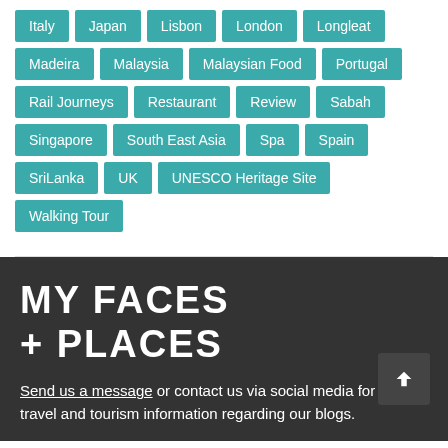Italy, Japan, Lisbon, London, Longleat, Madeira, Malaysia, Malaysian Food, Portugal, Rail Journeys, Restaurant, Review, Sabah, Singapore, South East Asia, Spa, Spain, Sri Lanka, UK, UNESCO Heritage Site, Walking Tour
MY FACES + PLACES
Send us a message or contact us via social media for any travel and tourism information regarding our blogs.